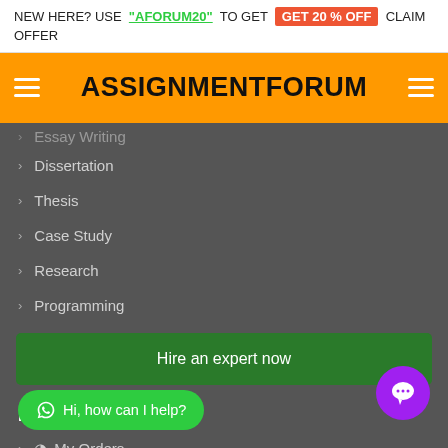NEW HERE? USE "AFORUM20" TO GET GET 20 % OFF CLAIM OFFER
ASSIGNMENTFORUM
Essay Writing
Dissertation
Thesis
Case Study
Research
Programming
Hire an expert now
My ccount
My Orders
My Account
Hi, how can I help?